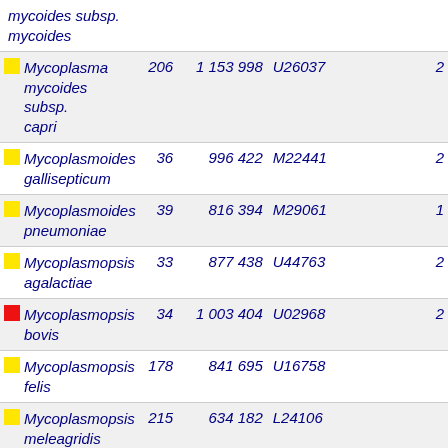| Name | Count | BP | Accession | Ref |
| --- | --- | --- | --- | --- |
| mycoides subsp. mycoides |  |  |  |  |
| Mycoplasma mycoides subsp. capri | 206 | 1 153 998 | U26037 | 2 |
| Mycoplasmoides gallisepticum | 36 | 996 422 | M22441 | 2 |
| Mycoplasmoides pneumoniae | 39 | 816 394 | M29061 | 1 |
| Mycoplasmopsis agalactiae | 33 | 877 438 | U44763 | 2 |
| Mycoplasmopsis bovis | 34 | 1 003 404 | U02968 | 2 |
| Mycoplasmopsis felis | 178 | 841 695 | U16758 |  |
| Mycoplasmopsis meleagridis | 215 | 634 182 | L24106 |  |